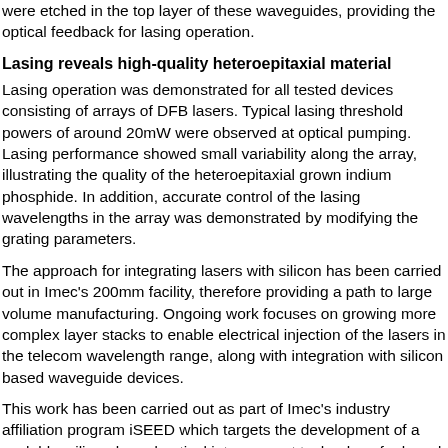were etched in the top layer of these waveguides, providing the optical feedback for lasing operation.
Lasing reveals high-quality heteroepitaxial material
Lasing operation was demonstrated for all tested devices consisting of arrays of DFB lasers. Typical lasing threshold powers of around 20mW were observed at optical pumping. Lasing performance showed small variability along the array, illustrating the quality of the heteroepitaxial grown indium phosphide. In addition, accurate control of the lasing wavelengths in the array was demonstrated by modifying the grating parameters.
The approach for integrating lasers with silicon has been carried out in Imec's 200mm facility, therefore providing a path to large volume manufacturing. Ongoing work focuses on growing more complex layer stacks to enable electrical injection of the lasers in the telecom wavelength range, along with integration with silicon based waveguide devices.
This work has been carried out as part of Imec's industry affiliation program iSEED which targets the development of a scalable, silicon-based optical interconnect technology for board- and chip-level I/O. The work was also partly supported by the European Commission through a grant awarded to professor D. Van Thourhout of Ghent University for research on Ultra Low Power ICs (ULPPIC). This five year project aims to develop novel active photonic ICs with ultra low power consumption, for integration on next generation electronic and photonic ICs.